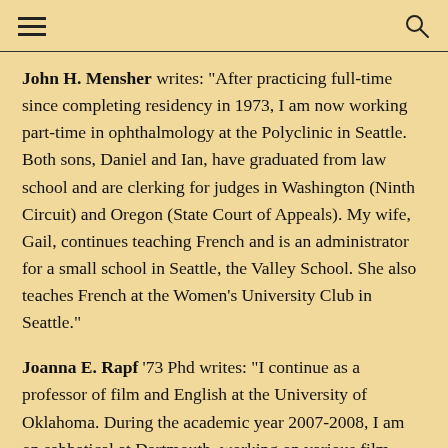John H. Mensher writes: "After practicing full-time since completing residency in 1973, I am now working part-time in ophthalmology at the Polyclinic in Seattle. Both sons, Daniel and Ian, have graduated from law school and are clerking for judges in Washington (Ninth Circuit) and Oregon (State Court of Appeals). My wife, Gail, continues teaching French and is an administrator for a small school in Seattle, the Valley School. She also teaches French at the Women's University Club in Seattle."
Joanna E. Rapf '73 Phd writes: "I continue as a professor of film and English at the University of Oklahoma. During the academic year 2007-2008, I am on sabbatical at Dartmouth, working on various film-related projects. My